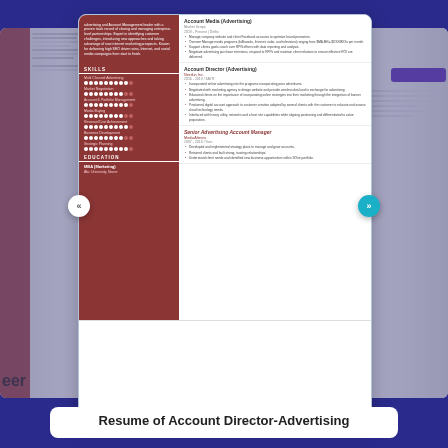[Figure (screenshot): A resume template preview for Account Director-Advertising, showing a two-column resume layout with a dark red left sidebar containing Skills and Education sections, and a white right column with job experience entries for Account Media (Advertising), Account Director (Advertising), and Senior Advertising Account Manager. The resume is displayed as a centered card with navigation arrows on both sides and two blurred cards partially visible on the left and right edges, all on a dark blue background.]
Resume of Account Director-Advertising